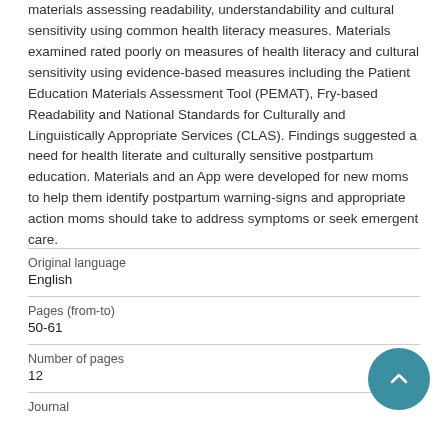materials assessing readability, understandability and cultural sensitivity using common health literacy measures. Materials examined rated poorly on measures of health literacy and cultural sensitivity using evidence-based measures including the Patient Education Materials Assessment Tool (PEMAT), Fry-based Readability and National Standards for Culturally and Linguistically Appropriate Services (CLAS). Findings suggested a need for health literate and culturally sensitive postpartum education. Materials and an App were developed for new moms to help them identify postpartum warning-signs and appropriate action moms should take to address symptoms or seek emergent care.
| Field | Value |
| --- | --- |
| Original language | English |
| Pages (from-to) | 50-61 |
| Number of pages | 12 |
| Journal |  |